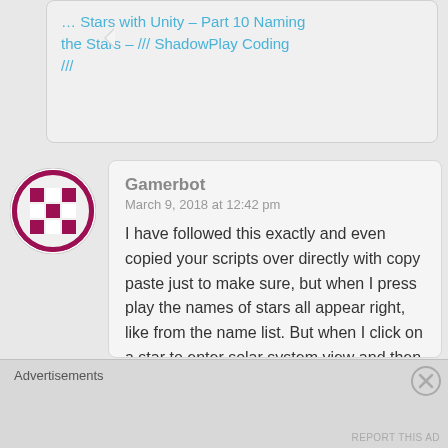... Stars with Unity – Part 10 Naming the Stars – /// ShadowPlay Coding ///
[Figure (illustration): Gamerbot avatar: circular icon with dark pink/maroon checkerboard grid pattern on white background]
Gamerbot
March 9, 2018 at 12:42 pm
I have followed this exactly and even copied your scripts over directly with copy paste just to make sure, but when I press play the names of stars all appear right, like from the name list. But when I click on a star to enter solar system view and then hit the
Advertisements